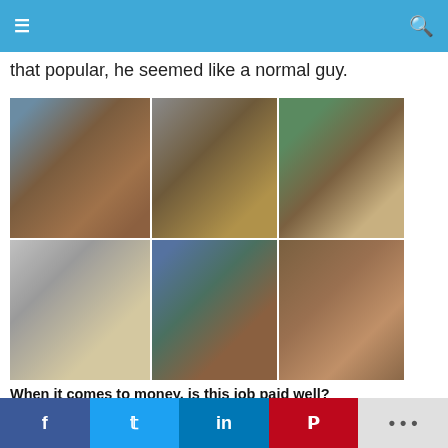≡  [navigation bar]  🔍
that popular, he seemed like a normal guy.
[Figure (photo): Collage of six photos showing a man in various medieval/historical costumes in different settings]
When it comes to money, is this job paid well?
It's really worth it. You earn money, meet people and have some great experiences.